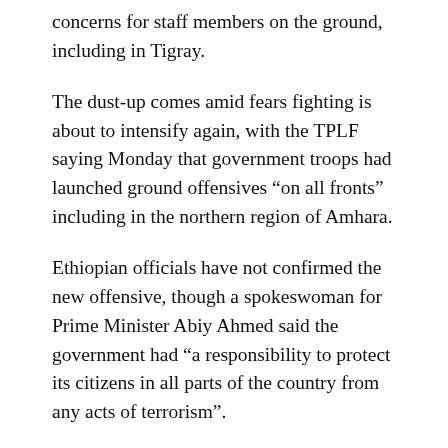concerns for staff members on the ground, including in Tigray.
The dust-up comes amid fears fighting is about to intensify again, with the TPLF saying Monday that government troops had launched ground offensives “on all fronts” including in the northern region of Amhara.
Ethiopian officials have not confirmed the new offensive, though a spokeswoman for Prime Minister Abiy Ahmed said the government had “a responsibility to protect its citizens in all parts of the country from any acts of terrorism”.
Humanitarian and rebel sources told AFP over the weekend that Ethiopian troops had launched air and